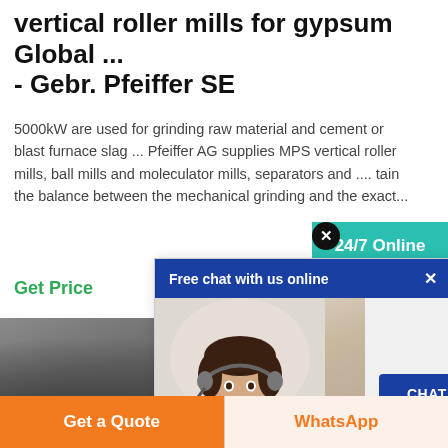vertical roller mills for gypsum Global ... - Gebr. Pfeiffer SE
5000kW are used for grinding raw material and cement or blast furnace slag ... Pfeiffer AG supplies MPS vertical roller mills, ball mills and moleculator mills, separators and .... tain the balance between the mechanical grinding and the exact...
Get Price
[Figure (screenshot): Free chat with us online popup with chat agent photo and CHAT NOW button]
[Figure (photo): 24/7 Online teal widget with headset operator image, Have any requests click here text, and Quotation button]
[Figure (photo): Industrial machinery / vertical roller mill equipment photo]
Get a Quote
WhatsApp